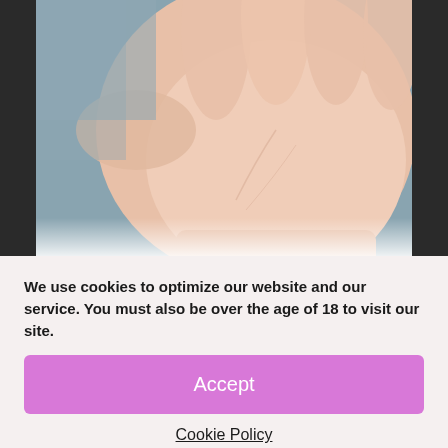[Figure (photo): Close-up photo of a human hand/palm held open against a gray background]
The Pulse Solo Interactive looks very much like the other models in the Pulse range – the Pulse Solo Lux and the Pulse Solo Essential. In fact, just looking at these models it is almost impossible to tell them apart – with the exception of the neatly embossed logos
We use cookies to optimize our website and our service. You must also be over the age of 18 to visit our site.
Accept
Cookie Policy